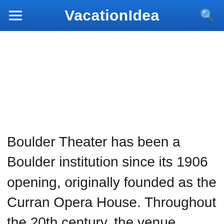VacationIdea
[Figure (other): Blank white image placeholder area]
Boulder Theater has been a Boulder institution since its 1906 opening, originally founded as the Curran Opera House. Throughout the 20th century, the venue served as a motion picture house, concert hall, and live event venue, still drawing top national